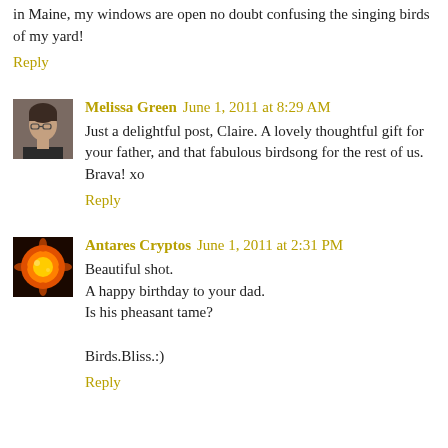in Maine, my windows are open no doubt confusing the singing birds of my yard!
Reply
Melissa Green  June 1, 2011 at 8:29 AM
Just a delightful post, Claire. A lovely thoughtful gift for your father, and that fabulous birdsong for the rest of us. Brava! xo
Reply
Antares Cryptos  June 1, 2011 at 2:31 PM
Beautiful shot.
A happy birthday to your dad.
Is his pheasant tame?

Birds.Bliss.:)
Reply